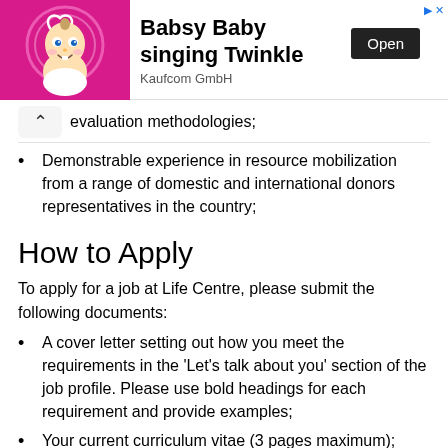[Figure (screenshot): Advertisement banner for 'Babsy Baby singing Twinkle' app by Kaufcom GmbH with an Open button and a cartoon baby image on a pink background.]
evaluation methodologies;
Demonstrable experience in resource mobilization from a range of domestic and international donors representatives in the country;
How to Apply
To apply for a job at Life Centre, please submit the following documents:
A cover letter setting out how you meet the requirements in the 'Let's talk about you' section of the job profile. Please use bold headings for each requirement and provide examples;
Your current curriculum vitae (3 pages maximum);